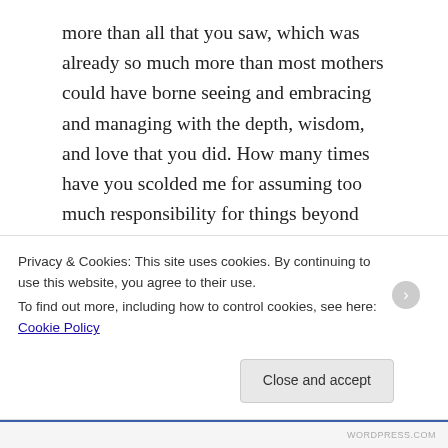more than all that you saw, which was already so much more than most mothers could have borne seeing and embracing and managing with the depth, wisdom, and love that you did. How many times have you scolded me for assuming too much responsibility for things beyond my control? Now I must do the same for you. This will always be a sad and terrible anniversary for you, but it shouldn't be a day to flog yourself for sins you didn't commit. I know you know this in your heart, but I feel compelled to give you this gentle reminder with love & healing
Privacy & Cookies: This site uses cookies. By continuing to use this website, you agree to their use.
To find out more, including how to control cookies, see here: Cookie Policy
Close and accept
WORDPRESS.COM